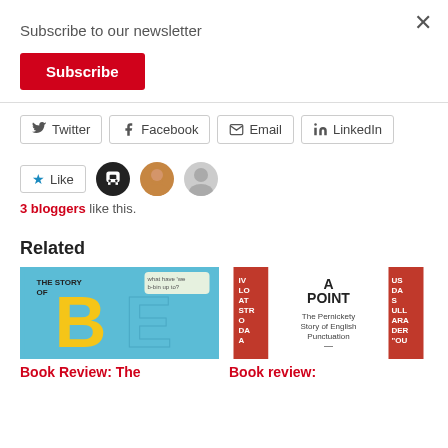Subscribe to our newsletter
Subscribe
Twitter
Facebook
Email
LinkedIn
Like
3 bloggers like this.
Related
Book Review: The
Book review: